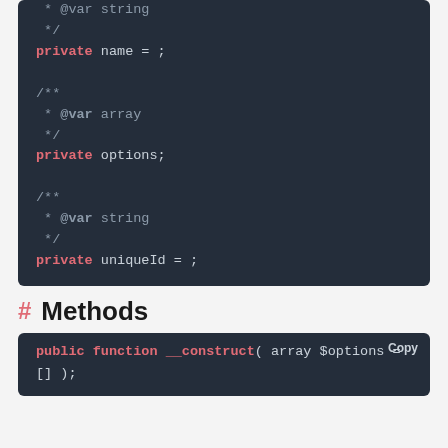[Figure (screenshot): PHP code block showing comment and private properties: name and options and uniqueId with JSDoc comments]
# Methods
[Figure (screenshot): PHP code block showing public function __construct( array $options = [] ); with Copy button]